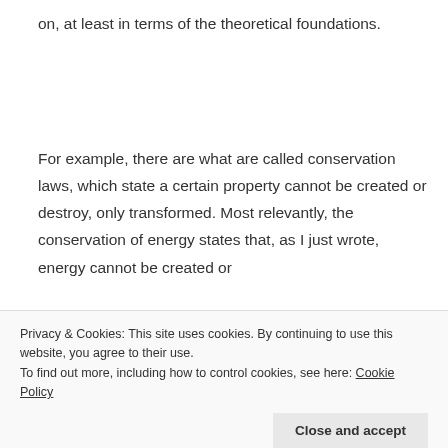on, at least in terms of the theoretical foundations.
For example, there are what are called conservation laws, which state a certain property cannot be created or destroy, only transformed. Most relevantly, the conservation of energy states that, as I just wrote, energy cannot be created or
Privacy & Cookies: This site uses cookies. By continuing to use this website, you agree to their use.
To find out more, including how to control cookies, see here: Cookie Policy
Close and accept
symmetry. So the conservation of energy comes